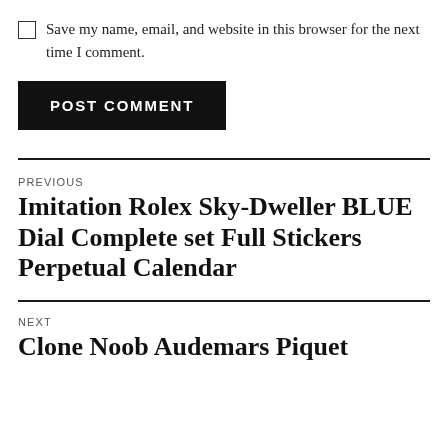Save my name, email, and website in this browser for the next time I comment.
POST COMMENT
PREVIOUS
Imitation Rolex Sky-Dweller BLUE Dial Complete set Full Stickers Perpetual Calendar
NEXT
Clone Noob Audemars Piquet